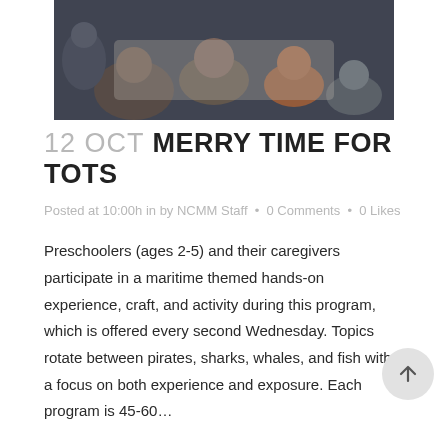[Figure (photo): Children and caregivers gathered around a table doing a hands-on activity, viewed from above.]
12 OCT MERRY TIME FOR TOTS
Posted at 10:00h in by NCMM Staff • 0 Comments • 0 Likes
Preschoolers (ages 2-5) and their caregivers participate in a maritime themed hands-on experience, craft, and activity during this program, which is offered every second Wednesday. Topics rotate between pirates, sharks, whales, and fish with a focus on both experience and exposure. Each program is 45-60…